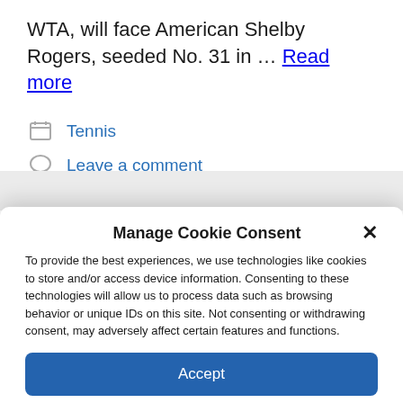WTA, will face American Shelby Rogers, seeded No. 31 in … Read more
Tennis
Leave a comment
Manage Cookie Consent
To provide the best experiences, we use technologies like cookies to store and/or access device information. Consenting to these technologies will allow us to process data such as browsing behavior or unique IDs on this site. Not consenting or withdrawing consent, may adversely affect certain features and functions.
Accept
Cookie Policy